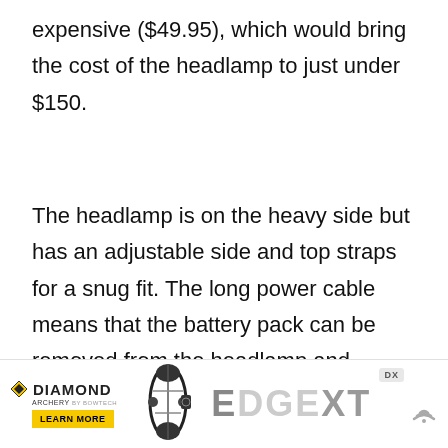expensive ($49.95), which would bring the cost of the headlamp to just under $150.
The headlamp is on the heavy side but has an adjustable side and top straps for a snug fit. The long power cable means that the battery pack can be removed from the headlamp and stowed in either a backpack or jacket pocket.
[Figure (other): Diamond Archery advertisement banner featuring the Edge XT bow, with a 'Learn More' button and DX badge]